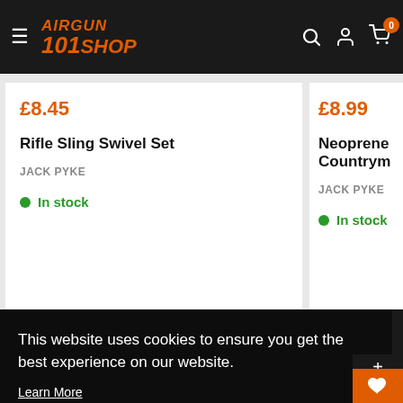AIRGUN 101SHOP — navigation bar with hamburger menu, logo, search, account, cart (0)
£8.45
Rifle Sling Swivel Set
JACK PYKE
In stock
£8.99
Neoprene Countrym
JACK PYKE
In stock
This website uses cookies to ensure you get the best experience on our website.
Learn More
Got it!
FOOTER MENU